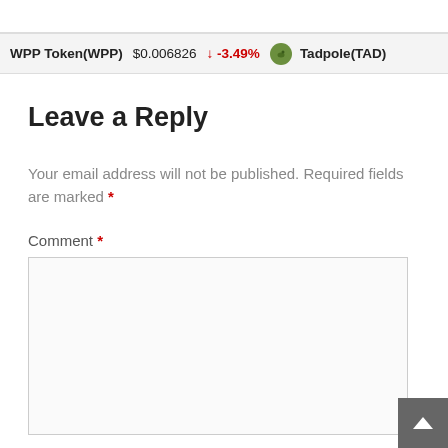WPP Token(WPP)  $0.006826  ↓ -3.49%  Tadpole(TAD)
Leave a Reply
Your email address will not be published. Required fields are marked *
Comment *